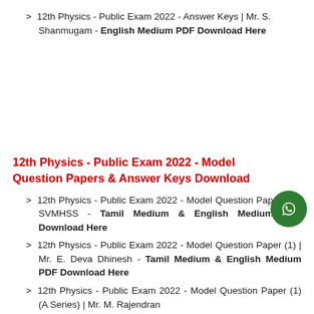> 12th Physics - Public Exam 2022 - Answer Keys | Mr. S. Shanmugam - English Medium PDF Download Here
12th Physics - Public Exam 2022 - Model Question Papers & Answer Keys Download
> 12th Physics - Public Exam 2022 - Model Question Paper (1) | SVMHSS - Tamil Medium & English Medium PDF Download Here
> 12th Physics - Public Exam 2022 - Model Question Paper (1) | Mr. E. Deva Dhinesh - Tamil Medium & English Medium PDF Download Here
> 12th Physics - Public Exam 2022 - Model Question Paper (1) (A Series) | Mr. M. Rajendran